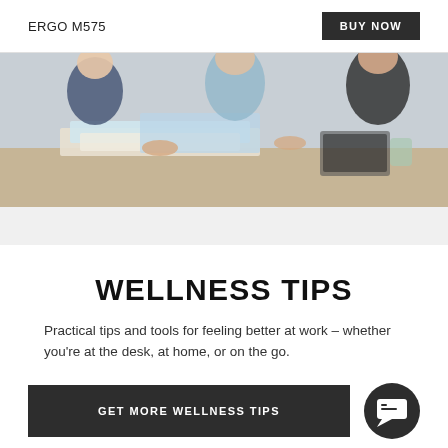ERGO M575  BUY NOW
[Figure (photo): People sitting around a desk with books and papers, working together]
WELLNESS TIPS
Practical tips and tools for feeling better at work – whether you're at the desk, at home, or on the go.
GET MORE WELLNESS TIPS